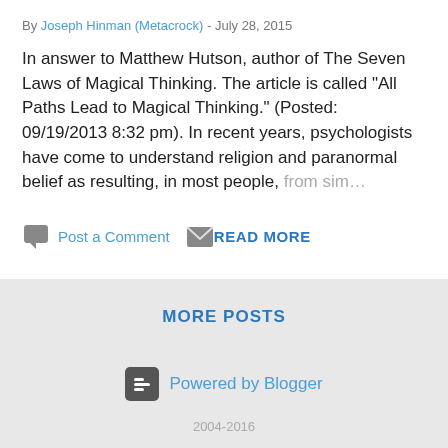By Joseph Hinman (Metacrock) - July 28, 2015
In answer to Matthew Hutson, author of The Seven Laws of Magical Thinking. The article is called "All Paths Lead to Magical Thinking." (Posted: 09/19/2013 8:32 pm). In recent years, psychologists have come to understand religion and paranormal belief as resulting, in most people, from sim…
Post a Comment
READ MORE
MORE POSTS
Powered by Blogger
2004-2016